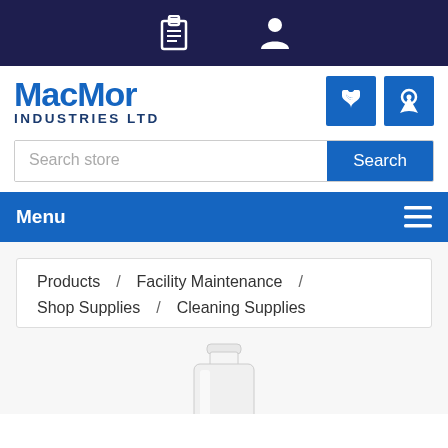MacMor Industries Ltd - Navigation top bar with clipboard and user icons
[Figure (logo): MacMor Industries Ltd logo in blue]
Search store
Search
Menu
Products / Facility Maintenance / Shop Supplies / Cleaning Supplies
[Figure (photo): White plastic bottle of cleaning supply, partially visible at bottom of page]